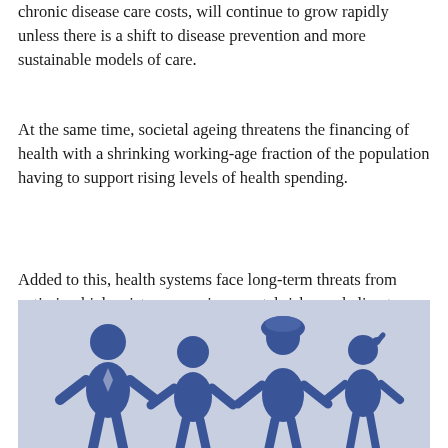chronic disease care costs, will continue to grow rapidly unless there is a shift to disease prevention and more sustainable models of care.
At the same time, societal ageing threatens the financing of health with a shrinking working-age fraction of the population having to support rising levels of health spending.
Added to this, health systems face long-term threats from antimicrobial resistance, environmental risks, and climate change.
[Figure (illustration): Illustration of human figures (silhouettes of people) on a light blue-grey background, representing population/societal ageing concept. Multiple figures of varying sizes visible.]